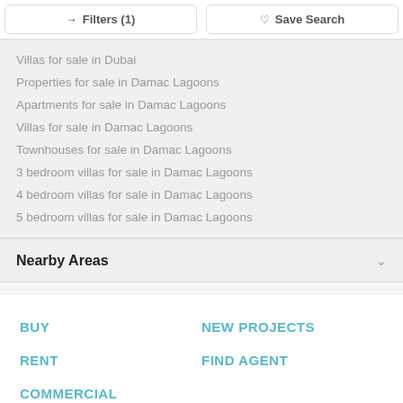Filters (1)   Save Search
Villas for sale in Dubai
Properties for sale in Damac Lagoons
Apartments for sale in Damac Lagoons
Villas for sale in Damac Lagoons
Townhouses for sale in Damac Lagoons
3 bedroom villas for sale in Damac Lagoons
4 bedroom villas for sale in Damac Lagoons
5 bedroom villas for sale in Damac Lagoons
Nearby Areas
BUY
NEW PROJECTS
RENT
FIND AGENT
COMMERCIAL